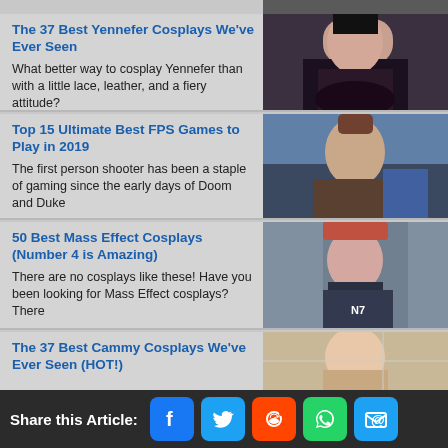[Figure (photo): Partial image visible at top of page]
The 37 Best Yennefer Cosplays We've Ever Seen — What better way to cosplay Yennefer than with a little lace, leather, and a fiery attitude?
Top 15 Ultimate Best FPS Games to Play in 2019 — The first person shooter has been a staple of gaming since the early days of Doom and Duke
50 Best Mass Effect Cosplays (Number 4 is Amazing) — There are no cosplays like these! Have you been looking for Mass Effect cosplays? There
The 37 Best Cammy Cosplays We've Ever Seen (HOT!)
Share this Article: